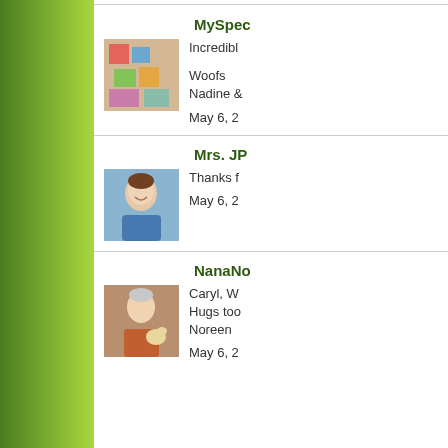MySpec...
Incredibl...
Woofs
Nadine &...
May 6, 2...
Mrs. JP...
Thanks f...
May 6, 2...
NanaNo...
Caryl, W...
Hugs too...
Noreen
May 6, 2...